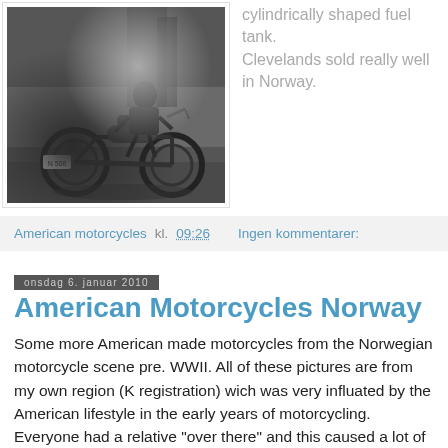[Figure (photo): Black and white photograph of a man sitting on a vintage motorcycle outdoors, with a license plate visible on the motorcycle.]
cylindrically shaped fuel tank.
Clevelands sold really well in Norway.
American motorcycles kl. 09:26    Ingen kommentarer:
onsdag 6. januar 2010
American Motorcycles Norway
Some more American made motorcycles from the Norwegian motorcycle scene pre. WWII. All of these pictures are from my own region (K registration) wich was very influated by the American lifestyle in the early years of motorcycling. Everyone had a relative "over there" and this caused a lot of